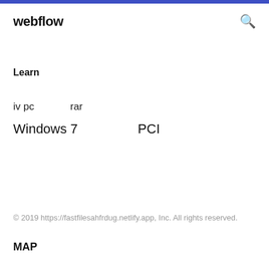webflow
Learn
iv pc    rar
Windows 7    PCI
© 2019 https://fastfilesahfrdug.netlify.app, Inc. All rights reserved.
MAP